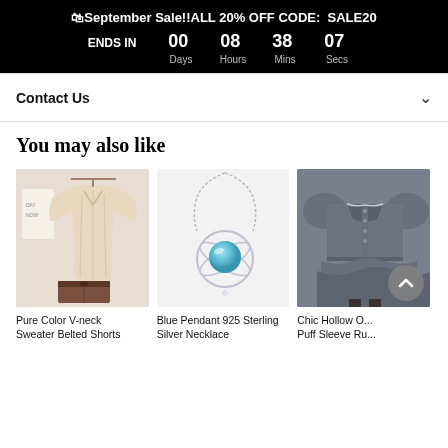🛍September Sale!!ALL 20% OFF CODE: SALE20 ENDS IN 00 Days 08 Hours 38 Mins 07 Secs
Contact Us
You may also like
[Figure (photo): Photo of a beige V-neck knit sweater paired with brown belted shorts, shown on a hanger and flat lay on a cream background]
Pure Color V-neck Sweater Belted Shorts
[Figure (photo): Photo of a blue pendant 925 sterling silver necklace with a globe-like aqua blue gemstone on a silver chain, on white background]
Blue Pendant 925 Sterling Silver Necklace
[Figure (photo): Photo of a chic hollow out puff sleeve ruffled grey mini dress on a model, partially visible, cut off on right]
Chic Hollow Out Puff Sleeve Ru...